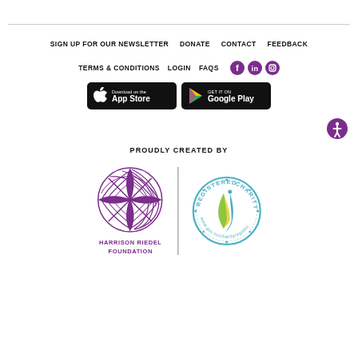SIGN UP FOR OUR NEWSLETTER   DONATE   CONTACT   FEEDBACK
TERMS & CONDITIONS   LOGIN   FAQS
[Figure (logo): App Store and Google Play download buttons]
[Figure (infographic): Accessibility icon button (purple circle with person icon)]
PROUDLY CREATED BY
[Figure (logo): Harrison Riedel Foundation logo - purple circular flower/pinwheel design with text HARRISON RIEDEL FOUNDATION]
[Figure (logo): Registered Charity badge - circular seal with ribbon design, text: REGISTERED CHARITY www.gov.nz/charityregister]